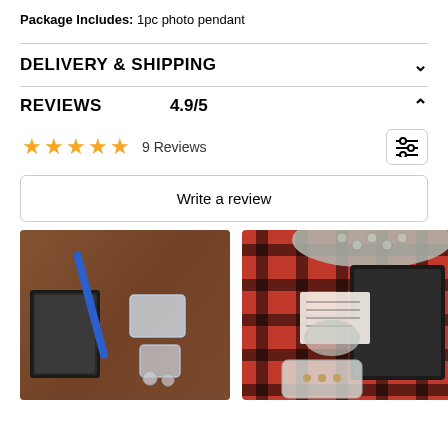Package Includes: 1pc photo pendant
DELIVERY & SHIPPING
REVIEWS   4.9/5
★★★★★ 9 Reviews
Write a review
[Figure (photo): Photo of a clear acrylic photo pendant with small items on a wooden surface]
[Figure (photo): Photo of a black box and packaging materials with bubble wrap on red and black plaid fabric]